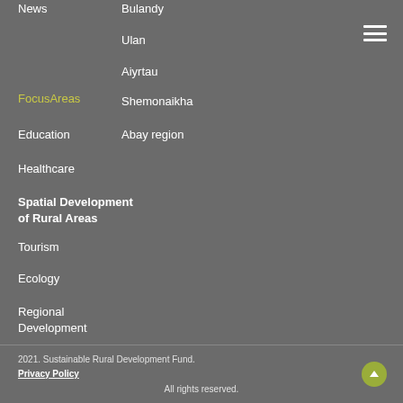News
Bulandy
Ulan
Aiyrtau
Focus Areas
Shemonaikha
Education
Abay region
Healthcare
Spatial Development of Rural Areas
Tourism
Ecology
Regional Development
2021. Sustainable Rural Development Fund.
Privacy Policy
All rights reserved.